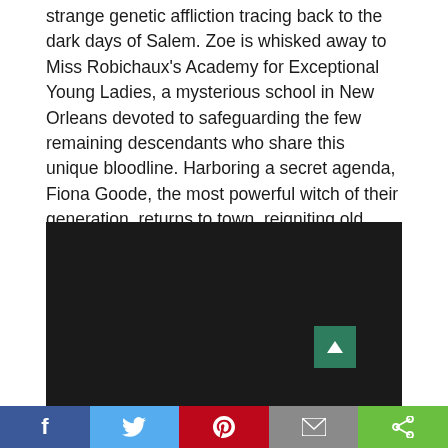strange genetic affliction tracing back to the dark days of Salem. Zoe is whisked away to Miss Robichaux's Academy for Exceptional Young Ladies, a mysterious school in New Orleans devoted to safeguarding the few remaining descendants who share this unique bloodline. Harboring a secret agenda, Fiona Goode, the most powerful witch of their generation, returns to town, reigniting old rivalries with the Coven's deadly enemies, the Voodoo.
[Figure (screenshot): Dark/black video player embed area]
[Figure (infographic): Social share bar with Facebook (blue), Twitter (light blue), Pinterest (red), Email (grey), Share (green) buttons]